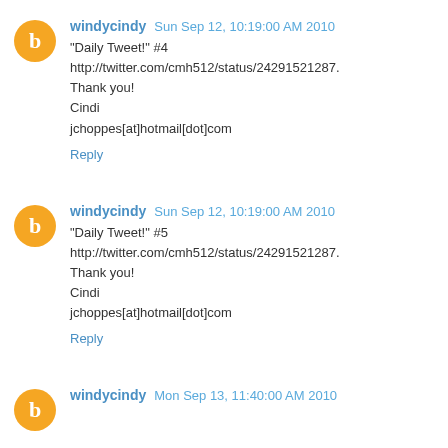windycindy  Sun Sep 12, 10:19:00 AM 2010
"Daily Tweet!" #4
http://twitter.com/cmh512/status/24291521287.
Thank you!
Cindi
jchoppes[at]hotmail[dot]com
Reply
windycindy  Sun Sep 12, 10:19:00 AM 2010
"Daily Tweet!" #5
http://twitter.com/cmh512/status/24291521287.
Thank you!
Cindi
jchoppes[at]hotmail[dot]com
Reply
windycindy  Mon Sep 13, 11:40:00 AM 2010